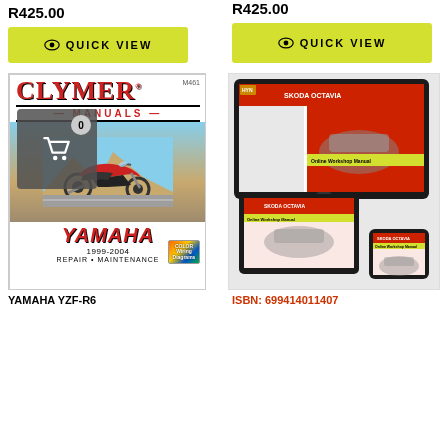R425.00
QUICK VIEW
R425.00
QUICK VIEW
[Figure (photo): Clymer Manuals book cover for Yamaha YZF-R6 1999-2004 Repair and Maintenance with motorcycle photo]
[Figure (photo): Skoda Octavia online workshop manual shown on monitor, tablet, and phone devices]
YAMAHA YZF-R6
ISBN: 699414011407